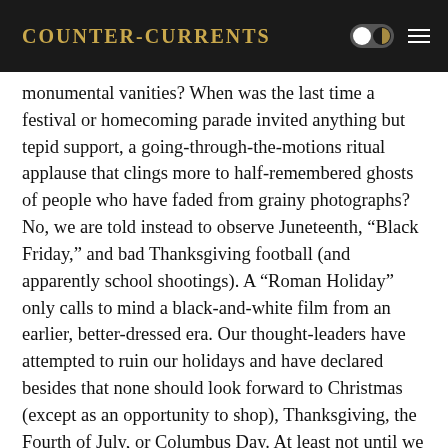Counter-Currents
monumental vanities? When was the last time a festival or homecoming parade invited anything but tepid support, a going-through-the-motions ritual applause that clings more to half-remembered ghosts of people who have faded from grainy photographs? No, we are told instead to observe Juneteenth, “Black Friday,” and bad Thanksgiving football (and apparently school shootings). A “Roman Holiday” only calls to mind a black-and-white film from an earlier, better-dressed era. Our thought-leaders have attempted to ruin our holidays and have declared besides that none should look forward to Christmas (except as an opportunity to shop), Thanksgiving, the Fourth of July, or Columbus Day. At least not until we have all denounced our grandmothers and grandfathers for the joy they once took at their own celebrations of these same events, and a lifetime ago.